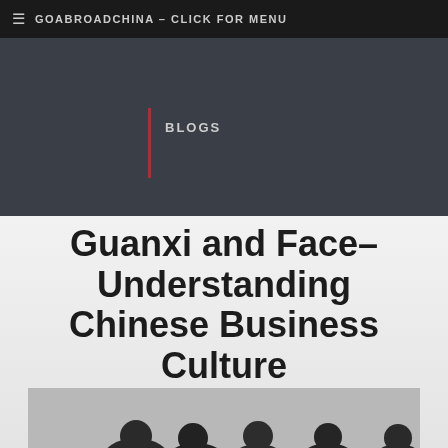≡  GOABROADCHINA - CLICK FOR MENU
BLOGS
Guanxi and Face- Understanding Chinese Business Culture
[Figure (photo): Group of young people, appearing to be students or professionals, gathered together in conversation against a light background]